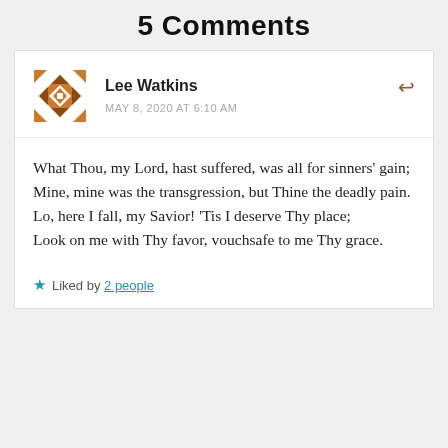5 Comments
Lee Watkins
MAY 8, 2020 AT 6:10 AM
What Thou, my Lord, hast suffered, was all for sinners' gain;
Mine, mine was the transgression, but Thine the deadly pain.
Lo, here I fall, my Savior! ‘Tis I deserve Thy place;
Look on me with Thy favor, vouchsafe to me Thy grace.
Liked by 2 people